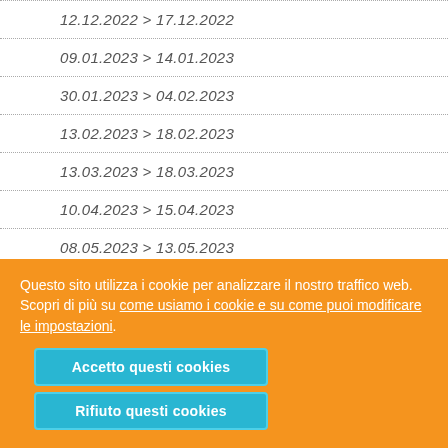12.12.2022 > 17.12.2022
09.01.2023 > 14.01.2023
30.01.2023 > 04.02.2023
13.02.2023 > 18.02.2023
13.03.2023 > 18.03.2023
10.04.2023 > 15.04.2023
08.05.2023 > 13.05.2023
29.05.2023 > 03.06.2023
Questo sito utilizza i cookie per analizzare il nostro traffico web. Scopri di più su come usiamo i cookie e su come puoi modificare le impostazioni.
Accetto questi cookies
Rifiuto questi cookies